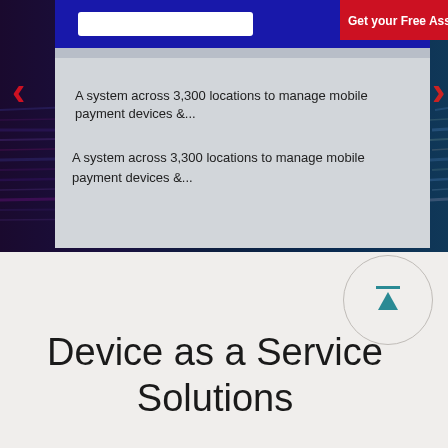[Figure (screenshot): Top section showing a dark navy background with speed lines, a card slide with a blue header bar and white input field, a red 'Get your Free Assessment ↓' button, left and right navigation arrows in red, and a gray content box with descriptive text.]
A system across 3,300 locations to manage mobile payment devices &...
[Figure (illustration): Teal circular scroll-to-top button with an upward arrow icon on light gray background.]
Device as a Service Solutions